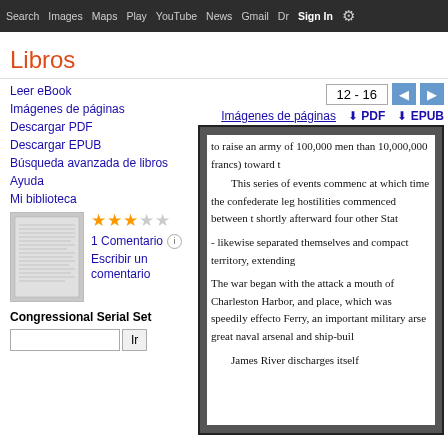Search  Images  Maps  Play  YouTube  News  Gmail  Drive  More  Sign In  ⚙
Libros
12 - 16
Imágenes de páginas  ⬇ PDF  ⬇ EPUB
Leer eBook
Imágenes de páginas
Descargar PDF
Descargar EPUB
Búsqueda avanzada de libros
Ayuda
Mi biblioteca
1 Comentario
Escribir un comentario
Congressional Serial Set
to raise an army of 100,000 men than 10,000,000 francs) toward t

This series of events commenc at which time the confederate leg hostilities commenced between t shortly afterward four other Stat

- likewise separated themselves and compact territory, extending

The war began with the attack a mouth of Charleston Harbor, and place, which was speedily effecto Ferry, an important military arse great naval arsenal and ship-buil

James River discharges itself